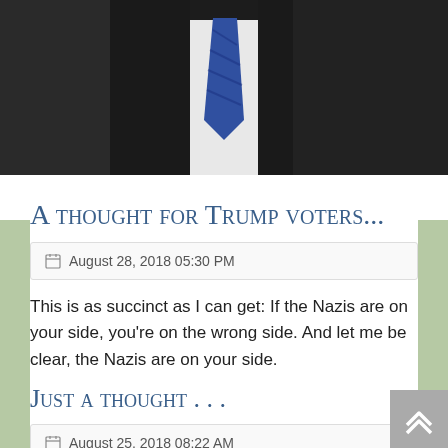[Figure (photo): A photo of two people in dark suits, one wearing a blue/purple tie and white shirt, cropped at the top of the page]
A thought for Trump voters...
August 28, 2018 05:30 PM
This is as succinct as I can get: If the Nazis are on your side, you're on the wrong side. And let me be clear, the Nazis are on your side.
Just a thought . . .
August 25, 2018 08:22 AM